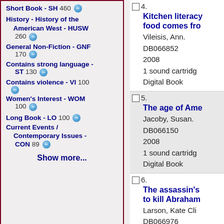Short Book - SH 460
History - History of the American West - HUSW 260
General Non-Fiction - GNF 170
Contains strong language - ST 130
Contains violence - VI 100
Women's Interest - WOM 100
Long Book - LO 100
Current Events / Contemporary Issues - CON 89
Show more...
4. Kitchen literacy: food comes from... Vileisis, Ann. DB066852 2008 1 sound cartridge Digital Book
5. The age of Ame... Jacoby, Susan. DB066150 2008 1 sound cartridge Digital Book
6. The assassin's to kill Abraham... Larson, Kate Cli... DB066976 2008 1 sound cartridge